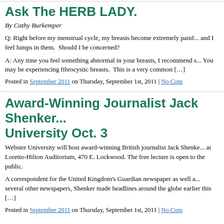Ask The HERB LADY.
By Cathy Burkemper
Q: Right before my menstrual cycle, my breasts become extremely painful and I feel lumps in them.  Should I be concerned?
A: Any time you feel something abnormal in your breasts, I recommend seeing your doctor. You may be experiencing fibrocystic breasts.  This is a very common […]
Posted in September 2011 on Thursday, September 1st, 2011 | No Com
Award-Winning Journalist Jack Shenker Visits Webster University Oct. 3
Webster University will host award-winning British journalist Jack Shenker at Loretto-Hilton Auditorium, 470 E. Lockwood. The free lecture is open to the public.
A correspondent for the United Kingdom's Guardian newspaper as well as several other newspapers, Shenker made headlines around the globe earlier this […]
Posted in September 2011 on Thursday, September 1st, 2011 | No Com